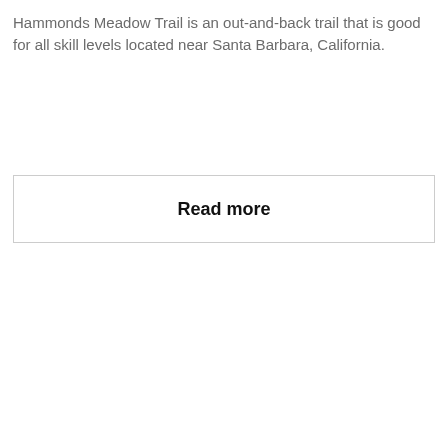Hammonds Meadow Trail is an out-and-back trail that is good for all skill levels located near Santa Barbara, California.
Read more